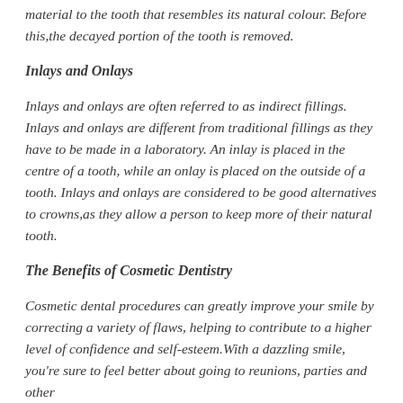material to the tooth that resembles its natural colour. Before this,the decayed portion of the tooth is removed.
Inlays and Onlays
Inlays and onlays are often referred to as indirect fillings. Inlays and onlays are different from traditional fillings as they have to be made in a laboratory. An inlay is placed in the centre of a tooth, while an onlay is placed on the outside of a tooth. Inlays and onlays are considered to be good alternatives to crowns,as they allow a person to keep more of their natural tooth.
The Benefits of Cosmetic Dentistry
Cosmetic dental procedures can greatly improve your smile by correcting a variety of flaws, helping to contribute to a higher level of confidence and self-esteem.With a dazzling smile, you're sure to feel better about going to reunions, parties and other